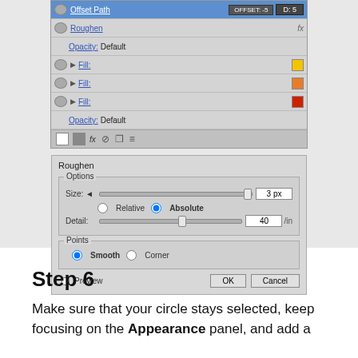[Figure (screenshot): Adobe Illustrator Appearance panel showing layers with Offset Path, Roughen effect, Opacity, and three Fill entries with yellow, orange, and red color swatches. Below it is the Roughen dialog box with Options (Size: 3px, Absolute selected, Detail: 40/in) and Points (Smooth selected) sections, with Preview checkbox, OK and Cancel buttons.]
Step 6
Make sure that your circle stays selected, keep focusing on the Appearance panel, and add a